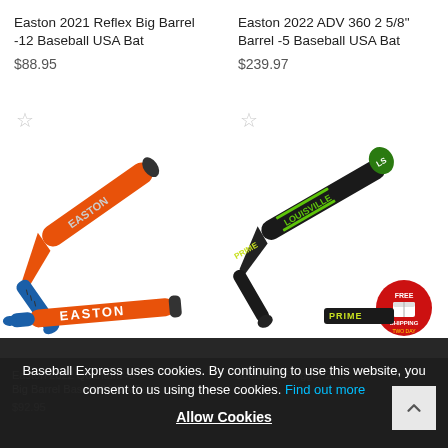Easton 2021 Reflex Big Barrel -12 Baseball USA Bat
$88.95
[Figure (photo): Easton orange and blue baseball bat (Reflex model) shown diagonally with EASTON branding on handle]
Easton 2022 ADV 360 2 5/8" Barrel -5 Baseball USA Bat
$239.97
[Figure (photo): Louisville Slugger black and green baseball bat with Free Shipping badge shown diagonally]
Easton 2022 Quantum -5 Big Barrel Baseball USA Bat
$92.95
Louisville Slugger 2022
Baseball Express uses cookies. By continuing to use this website, you consent to us using these cookies. Find out more
Allow Cookies